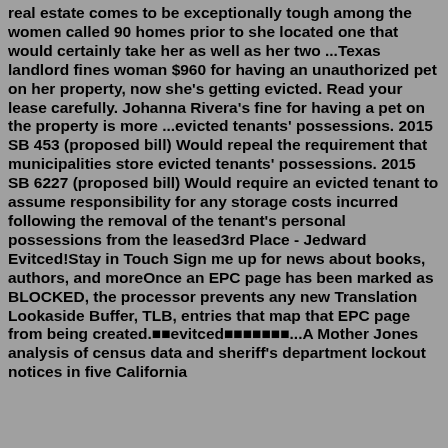real estate comes to be exceptionally tough among the women called 90 homes prior to she located one that would certainly take her as well as her two ...Texas landlord fines woman $960 for having an unauthorized pet on her property, now she's getting evicted. Read your lease carefully. Johanna Rivera's fine for having a pet on the property is more ...evicted tenants' possessions. 2015 SB 453 (proposed bill) Would repeal the requirement that municipalities store evicted tenants' possessions. 2015 SB 6227 (proposed bill) Would require an evicted tenant to assume responsibility for any storage costs incurred following the removal of the tenant's personal possessions from the leased3rd Place - Jedward Evitced!Stay in Touch Sign me up for news about books, authors, and moreOnce an EPC page has been marked as BLOCKED, the processor prevents any new Translation Lookaside Buffer, TLB, entries that map that EPC page from being created.■■evitced■■■■■■■...A Mother Jones analysis of census data and sheriff's department lockout notices in five California